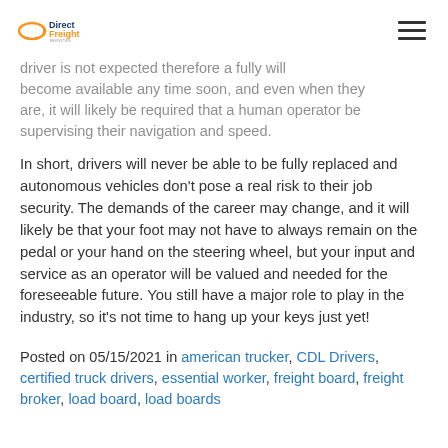DirectFreight [logo] [hamburger menu]
driver is not expected therefore a fully will become available any time soon, and even when they are, it will likely be required that a human operator be supervising their navigation and speed.
In short, drivers will never be able to be fully replaced and autonomous vehicles don’t pose a real risk to their job security. The demands of the career may change, and it will likely be that your foot may not have to always remain on the pedal or your hand on the steering wheel, but your input and service as an operator will be valued and needed for the foreseeable future. You still have a major role to play in the industry, so it’s not time to hang up your keys just yet!
Posted on 05/15/2021 in american trucker, CDL Drivers, certified truck drivers, essential worker, freight board, freight broker, load board, load boards